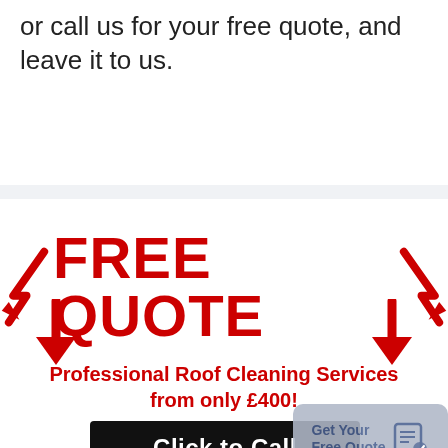or call us for your free quote, and leave it to us.
[Figure (infographic): Promotional banner with red 'FREE QUOTE' text flanked by red diagonal arrows pointing inward, with downward arrows below, text 'Professional Roof Cleaning Services from only £400!', a black 'Click to Call' button, and a grey 'Get Your Free Quote' widget badge.]